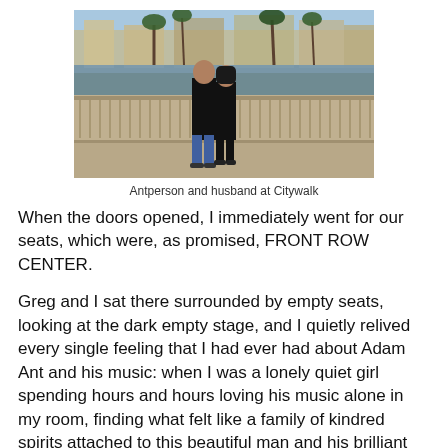[Figure (photo): Two people (Antperson and husband) standing together in front of an ornate railing with a waterway and buildings/palm trees in the background at Citywalk.]
Antperson and husband at Citywalk
When the doors opened, I immediately went for our seats, which were, as promised, FRONT ROW CENTER.
Greg and I sat there surrounded by empty seats, looking at the dark empty stage, and I quietly relived every single feeling that I had ever had about Adam Ant and his music: when I was a lonely quiet girl spending hours and hours loving his music alone in my room, finding what felt like a family of kindred spirits attached to this beautiful man and his brilliant music, when that turned into finding Antpeople pen-pal friends, the long bus rides and car trips to meet them and to see Adam Ant perform in concert, the teenager